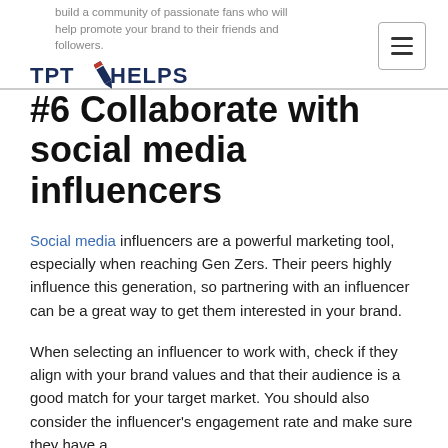build a community of passionate fans who will help promote your brand to their friends and followers.
[Figure (logo): TPTHelps logo with pencil icon]
#6 Collaborate with social media influencers
Social media influencers are a powerful marketing tool, especially when reaching Gen Zers. Their peers highly influence this generation, so partnering with an influencer can be a great way to get them interested in your brand.
When selecting an influencer to work with, check if they align with your brand values and that their audience is a good match for your target market. You should also consider the influencer's engagement rate and make sure they have a